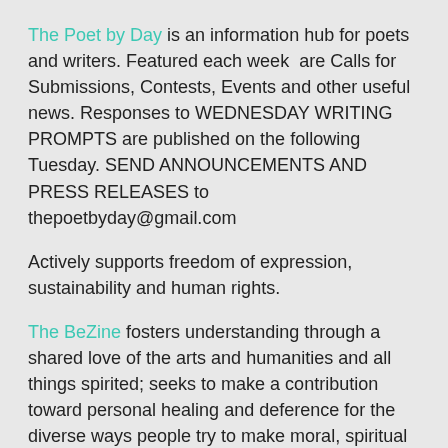The Poet by Day is an information hub for poets and writers. Featured each week  are Calls for Submissions, Contests, Events and other useful news. Responses to WEDNESDAY WRITING PROMPTS are published on the following Tuesday. SEND ANNOUNCEMENTS AND PRESS RELEASES to thepoetbyday@gmail.com
Actively supports freedom of expression, sustainability and human rights.
The BeZine fosters understanding through a shared love of the arts and humanities and all things spirited; seeks to make a contribution toward personal healing and deference for the diverse ways people try to make moral, spiritual and intellectual sense of a world in which illness, violence, despair, loneliness and death are as prevalent as hope, friendship, reason and birth. Submissions to Jamie Dedes bardogroup@gmail.com